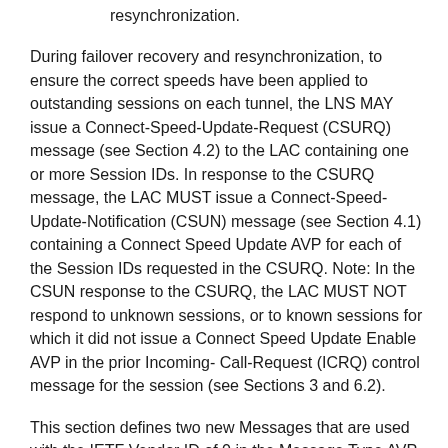resynchronization.
During failover recovery and resynchronization, to ensure the correct speeds have been applied to outstanding sessions on each tunnel, the LNS MAY issue a Connect-Speed-Update-Request (CSURQ) message (see Section 4.2) to the LAC containing one or more Session IDs. In response to the CSURQ message, the LAC MUST issue a Connect-Speed- Update-Notification (CSUN) message (see Section 4.1) containing a Connect Speed Update AVP for each of the Session IDs requested in the CSURQ. Note: In the CSUN response to the CSURQ, the LAC MUST NOT respond to unknown sessions, or to known sessions for which it did not issue a Connect Speed Update Enable AVP in the prior Incoming- Call-Request (ICRQ) control message for the session (see Sections 3 and 6.2).
This section defines two new Messages that are used with the IETF Vendor ID of 0 in the Message Type AVP.
The following message types will be assigned to these new